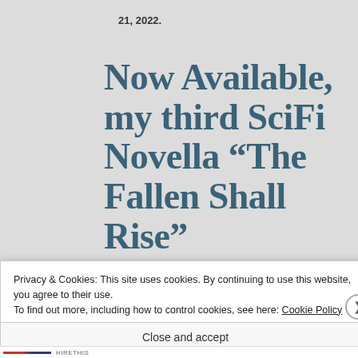21, 2022.
Now Available, my third SciFi Novella “The Fallen Shall Rise”
Privacy & Cookies: This site uses cookies. By continuing to use this website, you agree to their use.
To find out more, including how to control cookies, see here: Cookie Policy
Close and accept